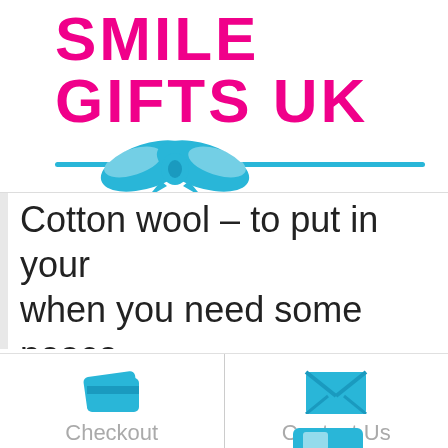[Figure (logo): Smile Gifts UK logo with magenta/pink bold text and cyan/teal ribbon bow graphic on a horizontal cyan line]
Cotton wool – to put in your ears when you need some peace and quiet
Mint – to freshen your breath
[Figure (infographic): Footer navigation with credit card icon labeled Checkout and envelope icon labeled Contact Us, with a partial car/van icon below]
Checkout
Contact Us